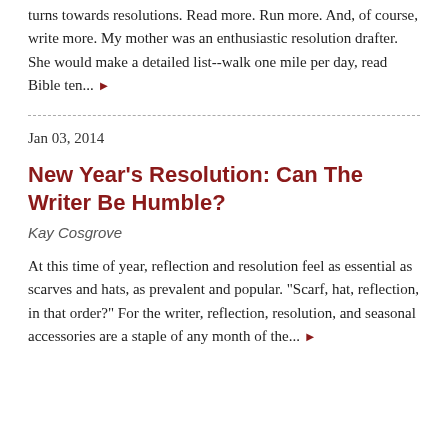turns towards resolutions. Read more. Run more. And, of course, write more. My mother was an enthusiastic resolution drafter. She would make a detailed list--walk one mile per day, read Bible ten... ▶
Jan 03, 2014
New Year's Resolution: Can The Writer Be Humble?
Kay Cosgrove
At this time of year, reflection and resolution feel as essential as scarves and hats, as prevalent and popular. "Scarf, hat, reflection, in that order?" For the writer, reflection, resolution, and seasonal accessories are a staple of any month of the... ▶